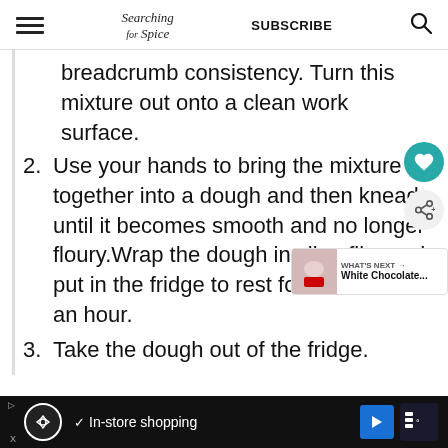Searching for Spice | SUBSCRIBE
breadcrumb consistency. Turn this mixture out onto a clean work surface.
2. Use your hands to bring the mixture together into a dough and then knead until it becomes smooth and no longer floury.Wrap the dough in cling film and put in the fridge to rest for about half an hour.
3. Take the dough out of the fridge.
In-store shopping